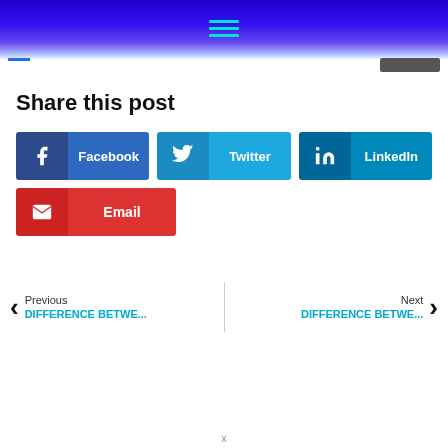[Figure (screenshot): Website header with blue gradient background and teal hamburger menu icon]
Share this post
[Figure (infographic): Social share buttons: Facebook, Twitter, LinkedIn, Email]
Previous DIFFERENCE BETWE... | Next DIFFERENCE BETWE...